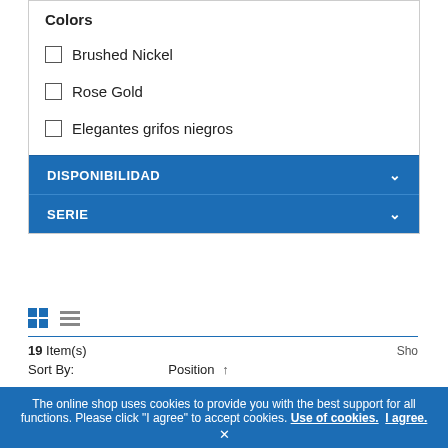Colors
Brushed Nickel
Rose Gold
Elegantes grifos niegros
DISPONIBILIDAD
SERIE
19 Item(s)
Sort By:   Position ↑
The online shop uses cookies to provide you with the best support for all functions. Please click "I agree" to accept cookies. Use of cookies. I agree. ×